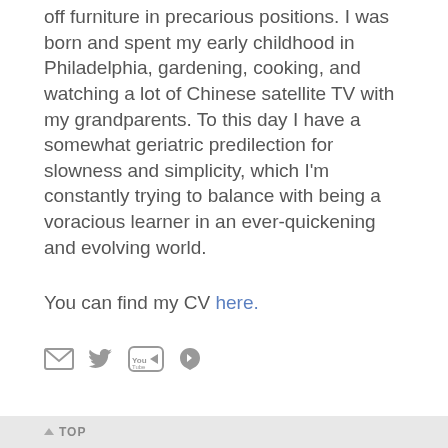off furniture in precarious positions. I was born and spent my early childhood in Philadelphia, gardening, cooking, and watching a lot of Chinese satellite TV with my grandparents. To this day I have a somewhat geriatric predilection for slowness and simplicity, which I'm constantly trying to balance with being a voracious learner in an ever-quickening and evolving world.
You can find my CV here.
[Figure (other): Social media icons: email (envelope), Twitter bird, YouTube logo, Vimeo V logo]
↑ TOP